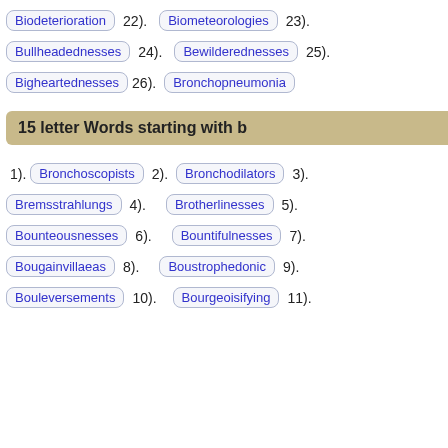Biodeterioration 22). Biometeorologies 23).
Bullheadednesses 24). Bewilderednesses 25).
Bigheartednesses 26). Bronchopneumonia
15 letter Words starting with b
1). Bronchoscopists 2). Bronchodilators 3).
Bremsstrahlungs 4). Brotherlinesses 5).
Bounteousnesses 6). Bountifulnesses 7).
Bougainvillaeas 8). Boustrophedonic 9).
Bouleversements 10). Bourgeoisifying 11).